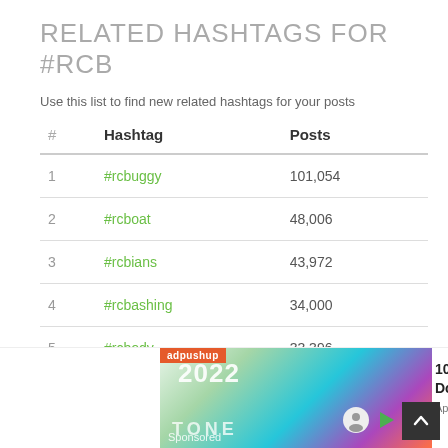RELATED HASHTAGS FOR #RCB
Use this list to find new related hashtags for your posts
| # | Hashtag | Posts |
| --- | --- | --- |
| 1 | #rcbuggy | 101,054 |
| 2 | #rcboat | 48,006 |
| 3 | #rcbians | 43,972 |
| 4 | #rcbashing | 34,000 |
| 5 | #rcbody | 33,396 |
| 6 | #rcbian | 27,162 |
| 7 | #rcboats | 25,033 |
[Figure (other): Advertisement banner: adpushup ad for '100% Free Ringtone Download' by Appurse, with a colorful 2022 ringtone image. Marked Sponsored.]